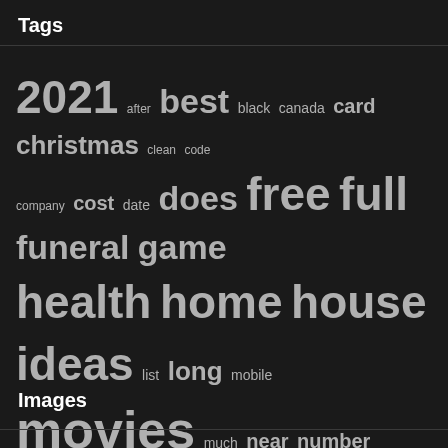Tags
2021 after best black canada card christmas clean code company cost date does free full funeral game health home house ideas list long mobile movies much near number online phone price reddit review service stock take texas that time tree watch water what white with
Images